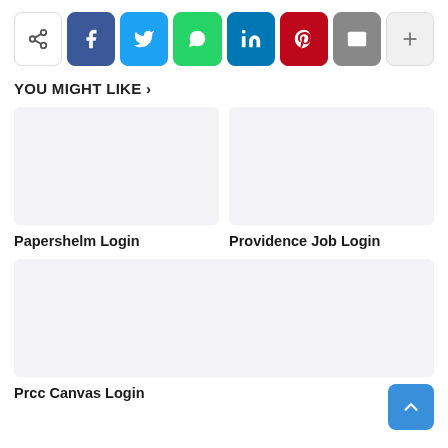[Figure (screenshot): Social share bar with icons: share, Facebook, Twitter, WhatsApp, LinkedIn, Pinterest, Email, and more (+) button]
YOU MIGHT LIKE >
[Figure (screenshot): Card thumbnail placeholder (light grey) for Papershelm Login]
Papershelm Login
[Figure (screenshot): Card thumbnail placeholder (light grey) for Providence Job Login]
Providence Job Login
[Figure (screenshot): Card thumbnail placeholder (light grey) for Prcc Canvas Login]
Prcc Canvas Login